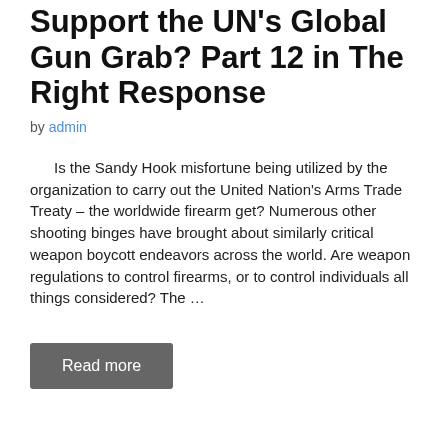Support the UN's Global Gun Grab? Part 12 in The Right Response
by admin
Is the Sandy Hook misfortune being utilized by the organization to carry out the United Nation's Arms Trade Treaty – the worldwide firearm get? Numerous other shooting binges have brought about similarly critical weapon boycott endeavors across the world. Are weapon regulations to control firearms, or to control individuals all things considered? The …
Read more